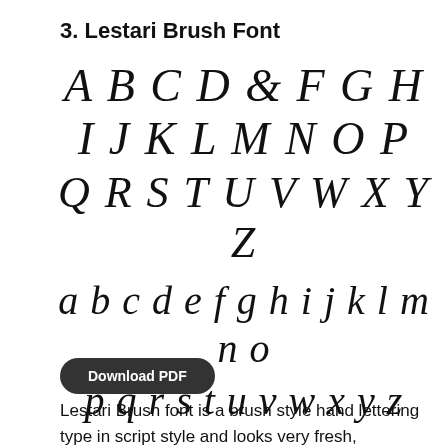3. Lestari Brush Font
[Figure (illustration): Display of the Lestari Brush Font showing uppercase letters A B C D & F G H I J K L M N O P on the first line, Q R S T U V W X Y Z on the second line, lowercase letters a b c d e f g h i j k l m n o on the third line, and p q r s t u v w x y z on the fourth line, all rendered in a brush script style font.]
Download PDF
Lestari Brush font is a brush style hand lettering type in script style and looks very fresh, modern, simple, and stylish. Hand-drawn brushes are making their way back to the fashion scene. Brush